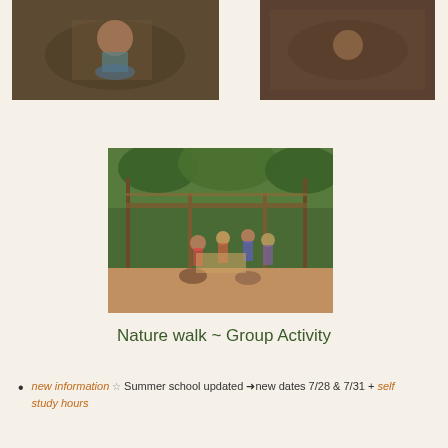[Figure (photo): Aerial view of a child crouching on dirt ground during nature walk]
[Figure (photo): Aerial view of dirt/leaf ground area during nature walk]
[Figure (photo): Group of children gathered under a wooden pergola structure in a park/garden setting]
Nature walk ~ Group Activity
new information  Summer school updated →new dates 7/28 & 7/31 + self study hours